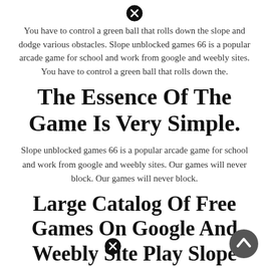[Figure (other): Close/cancel icon (circled X) at the top center of the page]
You have to control a green ball that rolls down the slope and dodge various obstacles. Slope unblocked games 66 is a popular arcade game for school and work from google and weebly sites. You have to control a green ball that rolls down the.
The Essence Of The Game Is Very Simple.
Slope unblocked games 66 is a popular arcade game for school and work from google and weebly sites. Our games will never block. Our games will never block.
Large Catalog Of Free Games On Google And Weebly Site Play Slope Unblocked Games 66 At
[Figure (other): Close/cancel icon (circled X) near the bottom center]
[Figure (other): Back-to-top arrow button (dark circular button with upward arrow) at bottom right]